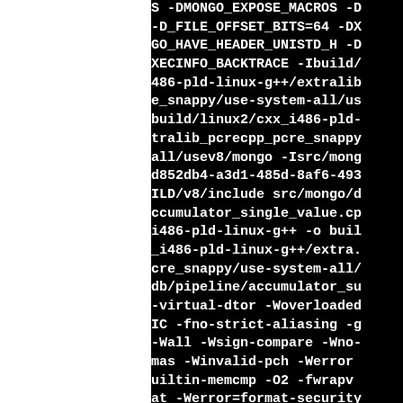S -DMONGO_EXPOSE_MACROS -D -D_FILE_OFFSET_BITS=64 -DX GO_HAVE_HEADER_UNISTD_H -D XECINFO_BACKTRACE -Ibuild/ 486-pld-linux-g++/extralib e_snappy/use-system-all/us build/linux2/cxx_i486-pld- tralib_pcrecpp_pcre_snappy all/usev8/mongo -Isrc/mong d852db4-a3d1-485d-8af6-493 ILD/v8/include src/mongo/d ccumulator_single_value.cp i486-pld-linux-g++ -o buil _i486-pld-linux-g++/extra. cre_snappy/use-system-all/ db/pipeline/accumulator_su -virtual-dtor -Woverloaded IC -fno-strict-aliasing -g -Wall -Wsign-compare -Wno- mas -Winvalid-pch -Werror uiltin-memcmp -O2 -fwrapv at -Werror=format-security fno-debug-types-section - assignments, g2, Wn D